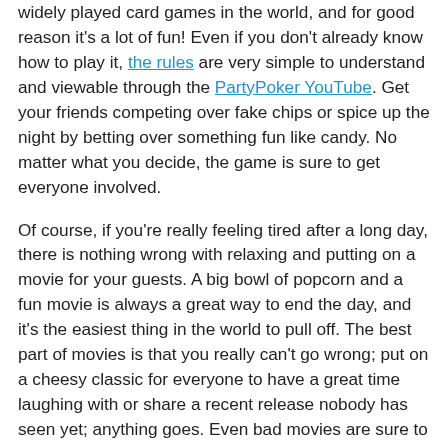widely played card games in the world, and for good reason it's a lot of fun! Even if you don't already know how to play it, the rules are very simple to understand and viewable through the PartyPoker YouTube. Get your friends competing over fake chips or spice up the night by betting over something fun like candy. No matter what you decide, the game is sure to get everyone involved.
Of course, if you're really feeling tired after a long day, there is nothing wrong with relaxing and putting on a movie for your guests. A big bowl of popcorn and a fun movie is always a great way to end the day, and it's the easiest thing in the world to pull off. The best part of movies is that you really can't go wrong; put on a cheesy classic for everyone to have a great time laughing with or share a recent release nobody has seen yet; anything goes. Even bad movies are sure to get people talking, but there is nothing wrong with watching something you've already seen 20 times, either.
Don't get caught up feeling like you have to go out of your way to entertain guests every day of your life. It doesn't have to be a difficult task. Making sure everyone has a great time can be a remarkably easy feat. Whether you're taking care of